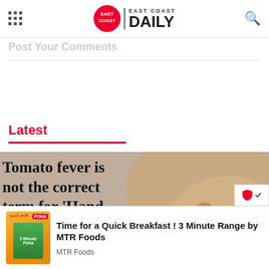[Figure (logo): East Coast Daily logo with red circle containing EAST COAST text, and EAST COAST DAILY wordmark]
Post Your Comments
Latest
[Figure (photo): Article thumbnail showing skin with blisters/lesions, with text overlay reading 'Tomato fever is not the correct term for Hand, Foot, and Mouth']
[Figure (other): Advertisement for MTR Foods: Time for a Quick Breakfast! 3 Minute Range by MTR Foods, showing POHA product]